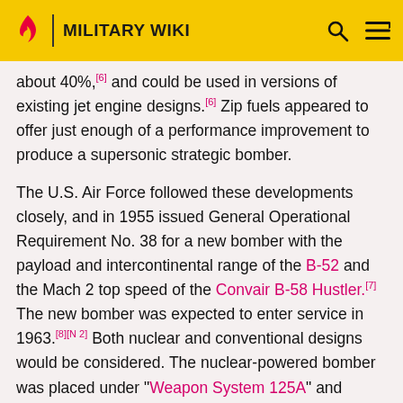MILITARY WIKI
about 40%,[6] and could be used in versions of existing jet engine designs.[6] Zip fuels appeared to offer just enough of a performance improvement to produce a supersonic strategic bomber.
The U.S. Air Force followed these developments closely, and in 1955 issued General Operational Requirement No. 38 for a new bomber with the payload and intercontinental range of the B-52 and the Mach 2 top speed of the Convair B-58 Hustler.[7] The new bomber was expected to enter service in 1963.[8][N 2] Both nuclear and conventional designs would be considered. The nuclear-powered bomber was placed under "Weapon System 125A" and pursued simultaneously with the jet-powered version, "Weapon System 110A"[9]